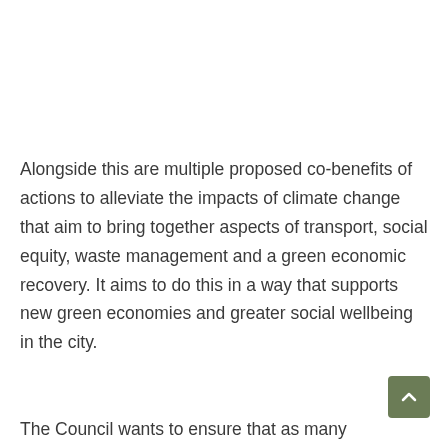Alongside this are multiple proposed co-benefits of actions to alleviate the impacts of climate change that aim to bring together aspects of transport, social equity, waste management and a green economic recovery. It aims to do this in a way that supports new green economies and greater social wellbeing in the city.
The Council wants to ensure that as many